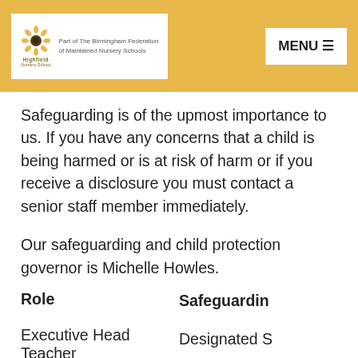[Figure (logo): Highfield Nursery School logo with sunflower icon and text 'Part of The Birmingham Federation of Maintained Nursery Schools']
Safeguarding is of the upmost importance to us. If you have any concerns that a child is being harmed or is at risk of harm or if you receive a disclosure you must contact a senior staff member immediately.
Our safeguarding and child protection governor is Michelle Howles.
| Role | Safeguarding |
| --- | --- |
| Executive Head Teacher | Designated S |